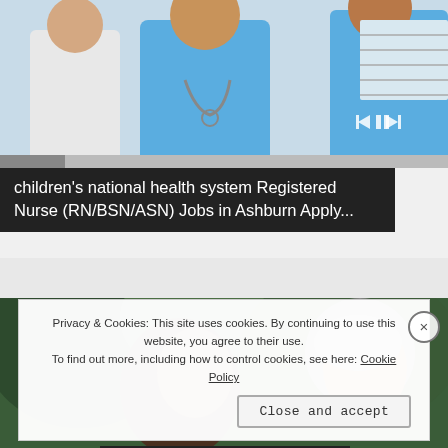[Figure (photo): Screenshot of a video player showing a nurse/medical professional in blue scrubs with a stethoscope, with video playback controls visible]
children's national health system Registered Nurse (RN/BSN/ASN) Jobs in Ashburn Apply...
[Figure (photo): Photo of two people, a woman with long dark hair and a man with gray hair, appearing to be outdoors with green foliage background]
Privacy & Cookies: This site uses cookies. By continuing to use this website, you agree to their use.
To find out more, including how to control cookies, see here: Cookie Policy
Close and accept